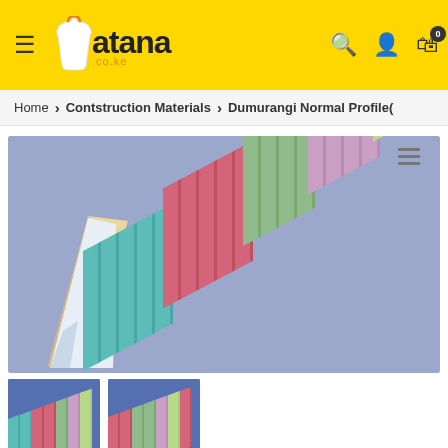atana.co.ke header with navigation icons
Home > Contstruction Materials > Dumurangi Normal Profile(
[Figure (photo): Colorful corrugated roofing sheets arranged in a roof structure against a blue-grey background, showing multiple colors: teal/cyan, pink/red, sage green, lavender/pink, and light green]
[Figure (photo): Thumbnail 1: Close-up of colorful corrugated roofing sheets]
[Figure (photo): Thumbnail 2: Close-up of corrugated roofing sheets showing pink and green colors]